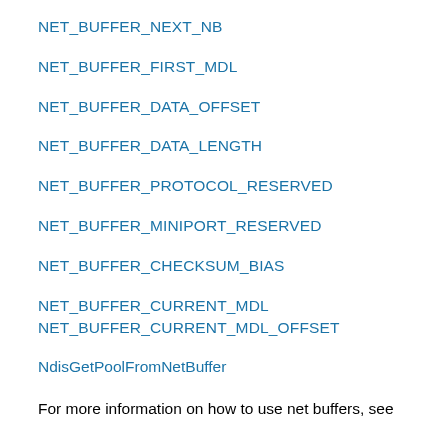NET_BUFFER_NEXT_NB
NET_BUFFER_FIRST_MDL
NET_BUFFER_DATA_OFFSET
NET_BUFFER_DATA_LENGTH
NET_BUFFER_PROTOCOL_RESERVED
NET_BUFFER_MINIPORT_RESERVED
NET_BUFFER_CHECKSUM_BIAS
NET_BUFFER_CURRENT_MDL
NET_BUFFER_CURRENT_MDL_OFFSET
NdisGetPoolFromNetBuffer
For more information on how to use net buffers, see